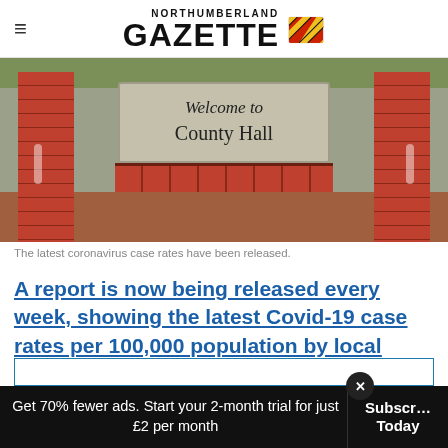NORTHUMBERLAND GAZETTE
[Figure (photo): Photo of a stone sign reading 'Welcome to County Hall' flanked by red brick pillars, with an earthy ground in the foreground.]
The latest coronavirus case rates have been released.
A report is now being released every week, showing the latest Covid-19 case rates per 100,000 population by local authority area.
Get 70% fewer ads. Start your 2-month trial for just £2 per month
Subscribe Today